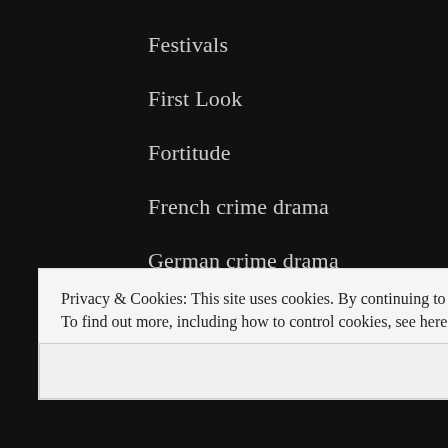Festivals
First Look
Fortitude
French crime drama
German crime drama
Gotham
Grace
Privacy & Cookies: This site uses cookies. By continuing to use this website, you agree to their use.
To find out more, including how to control cookies, see here: Cookie Policy
Close and accept